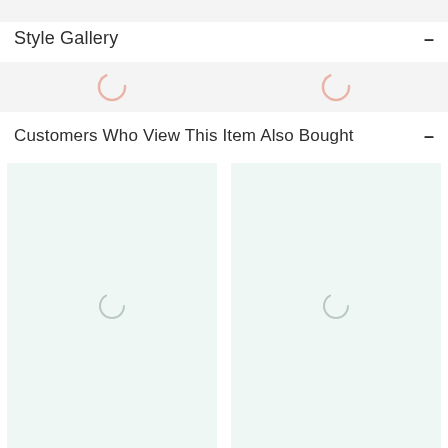Style Gallery
[Figure (other): Loading spinner icons (two pink circular loading indicators) in the Style Gallery section]
Customers Who View This Item Also Bought
[Figure (other): Two product placeholder cards with gray circular loading spinners on teal/mint background]